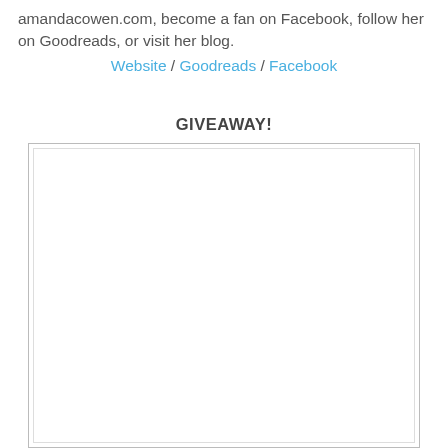amandacowen.com, become a fan on Facebook, follow her on Goodreads, or visit her blog.
Website / Goodreads / Facebook
GIVEAWAY!
[Figure (other): Empty white box with border, likely a giveaway widget or embedded content placeholder]